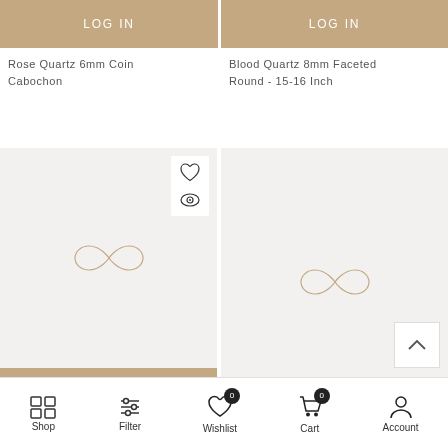[Figure (screenshot): LOGIN button (tan/beige) for product card top-left]
Rose Quartz 6mm Coin Cabochon
[Figure (screenshot): LOGIN button (tan/beige) for product card top-right]
Blood Quartz 8mm Faceted Round - 15-16 Inch
[Figure (photo): Product image placeholder with infinity/loop icon on light gray background, with heart and eye wishlist icons]
[Figure (screenshot): LOGIN button (tan/beige) below left product image]
Crystal Quartz Point Gold Tone Plated Pendant 30-35mm
[Figure (photo): Product image placeholder with infinity/loop icon on light gray background]
Cherry Quartz 25mm Coin Cabochon
Shop  Filter  Wishlist  Cart  Account